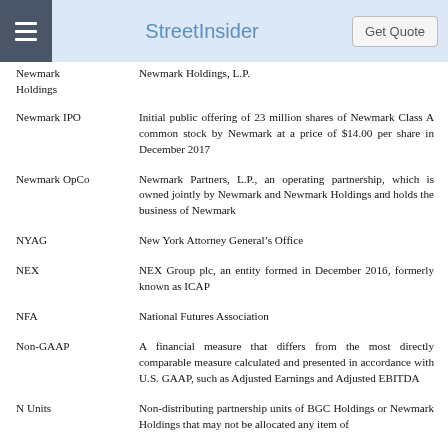StreetInsider
Newmark Holdings | Newmark Holdings, L.P.
Newmark IPO | Initial public offering of 23 million shares of Newmark Class A common stock by Newmark at a price of $14.00 per share in December 2017
Newmark OpCo | Newmark Partners, L.P., an operating partnership, which is owned jointly by Newmark and Newmark Holdings and holds the business of Newmark
NYAG | New York Attorney General's Office
NEX | NEX Group plc, an entity formed in December 2016, formerly known as ICAP
NFA | National Futures Association
Non-GAAP | A financial measure that differs from the most directly comparable measure calculated and presented in accordance with U.S. GAAP, such as Adjusted Earnings and Adjusted EBITDA
N Units | Non-distributing partnership units of BGC Holdings or Newmark Holdings that may not be allocated any item of